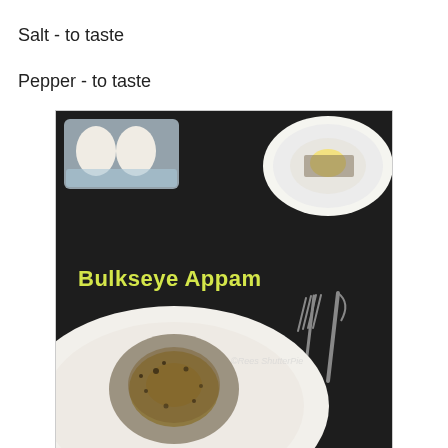Egg - 1
Salt - to taste
Pepper - to taste
[Figure (photo): Food photo of Bullseye Appam – a South Indian appam (rice pancake) with a fried egg on top, seasoned with pepper, served on a white plate on a dark background. The image also shows eggs in a carton tray (top left), another plated appam (top right), and cutlery (fork and knife) on the right side. Yellow text reads 'Bulkseye Appam' over the image. A watermark reads '©Rees ShutterPie'.]